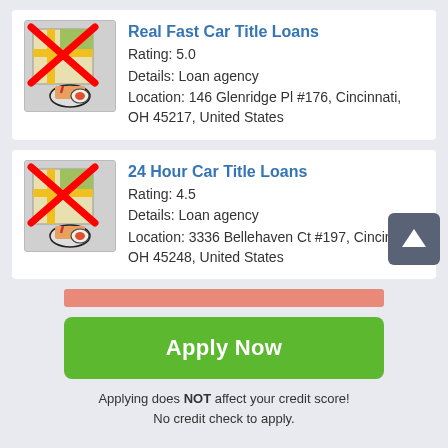[Figure (screenshot): Map icon with red X overlay for Real Fast Car Title Loans]
Real Fast Car Title Loans
Rating: 5.0
Details: Loan agency
Location: 146 Glenridge Pl #176, Cincinnati, OH 45217, United States
[Figure (screenshot): Map icon with red X overlay for 24 Hour Car Title Loans]
24 Hour Car Title Loans
Rating: 4.5
Details: Loan agency
Location: 3336 Bellehaven Ct #197, Cincinnati, OH 45248, United States
[Figure (other): Salmon/pink horizontal bar (partially visible)]
Apply Now
Applying does NOT affect your credit score! No credit check to apply.